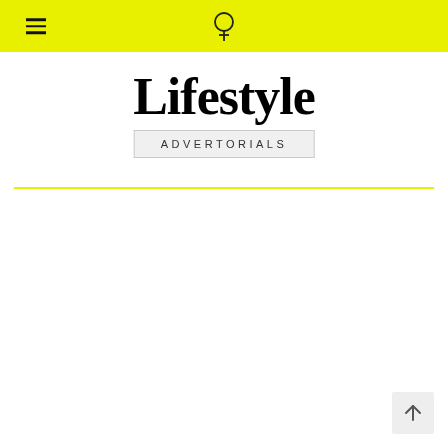≡  [logo icon]
Lifestyle
ADVERTORIALS
[Figure (other): Scroll-to-top button with upward arrow icon in bottom-right corner]